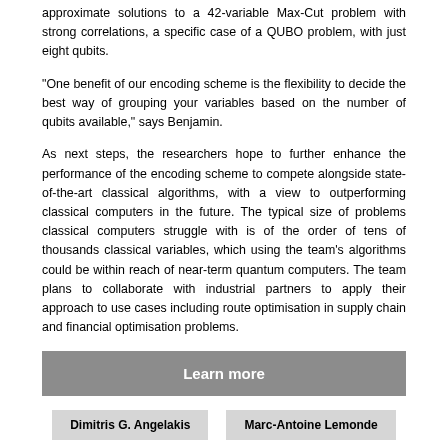approximate solutions to a 42-variable Max-Cut problem with strong correlations, a specific case of a QUBO problem, with just eight qubits.
“One benefit of our encoding scheme is the flexibility to decide the best way of grouping your variables based on the number of qubits available,” says Benjamin.
As next steps, the researchers hope to further enhance the performance of the encoding scheme to compete alongside state-of-the-art classical algorithms, with a view to outperforming classical computers in the future. The typical size of problems classical computers struggle with is of the order of tens of thousands classical variables, which using the team’s algorithms could be within reach of near-term quantum computers. The team plans to collaborate with industrial partners to apply their approach to use cases including route optimisation in supply chain and financial optimisation problems.
Learn more
Dimitris G. Angelakis
Marc-Antoine Lemonde
Jirawat Tangpanitanon
Thanasilp Supanut
Tan Yew Loong, Benjamin